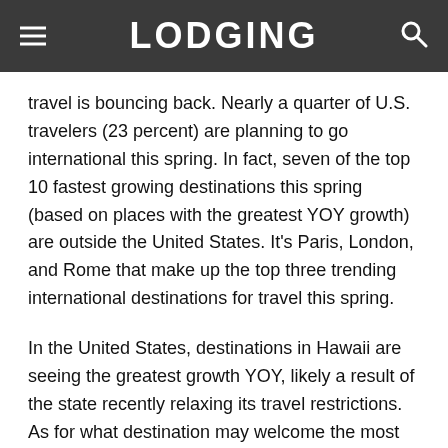LODGING
travel is bouncing back. Nearly a quarter of U.S. travelers (23 percent) are planning to go international this spring. In fact, seven of the top 10 fastest growing destinations this spring (based on places with the greatest YOY growth) are outside the United States. It's Paris, London, and Rome that make up the top three trending international destinations for travel this spring.
In the United States, destinations in Hawaii are seeing the greatest growth YOY, likely a result of the state recently relaxing its travel restrictions. As for what destination may welcome the most visitors overall, it's Orlando, Florida, is the most popular destination for U.S. travelers this spring. Orlando is a perennial popular spring travel destination families on vacation. Meanwhile, Cancun, Mexico is th